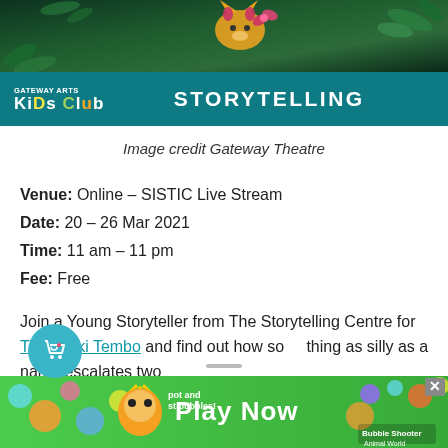[Figure (illustration): Dark green jungle/forest banner with animated character, leaves and foliage decoration at the top of the page]
GATEWAY ARTS KIDS CLUB   STORYTELLING
Image credit Gateway Theatre
Venue: Online – SISTIC Live Stream
Date: 20 – 26 Mar 2021
Time: 11 am – 11 pm
Fee: Free
Join a Young Storyteller from The Storytelling Centre for Tikki Tikki Tembo and find out how something as silly as a name escalates two
[Figure (illustration): Green advertisement banner at bottom: Play Now - Bubble Shooter Animal World game ad with cartoon animals and bubbles]